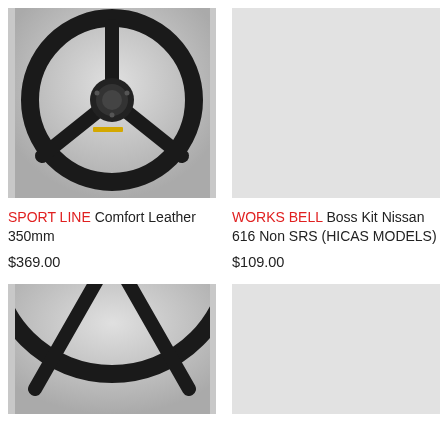[Figure (photo): SPORT LINE Comfort Leather 350mm steering wheel - black leather with three spokes and center hub, photographed against grey gradient background]
SPORT LINE Comfort Leather 350mm
$369.00
[Figure (photo): Grey placeholder rectangle for WORKS BELL Boss Kit Nissan 616 Non SRS (HICAS MODELS) product image]
WORKS BELL Boss Kit Nissan 616 Non SRS (HICAS MODELS)
$109.00
[Figure (photo): Bottom portion of a black steering wheel similar to SPORT LINE model, cropped, against grey gradient background]
[Figure (photo): Grey placeholder rectangle for second bottom product image]